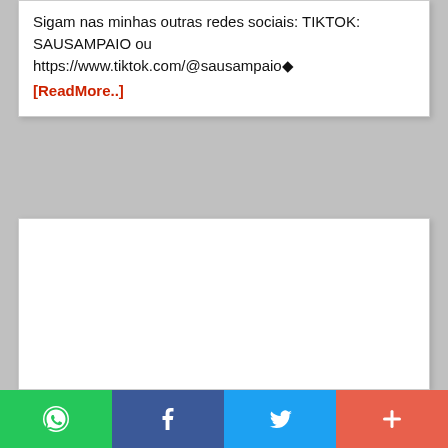Sigam nas minhas outras redes sociais: TIKTOK: SAUSAMPAIO ou https://www.tiktok.com/@sausampaio◆ [ReadMore..]
[Figure (other): Empty white content card area]
[Figure (infographic): Social share bar with four buttons: WhatsApp (green), Facebook (dark blue), Twitter (light blue), More/Plus (orange-red)]